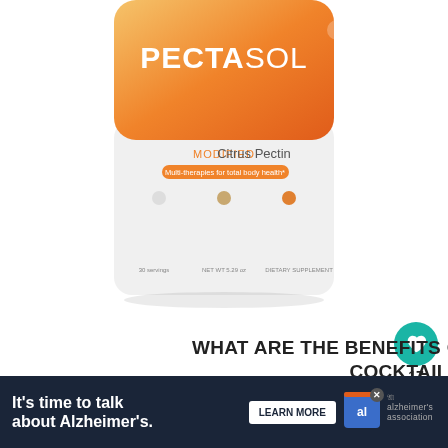[Figure (photo): PectaSol Modified Citrus Pectin supplement container with orange gradient lid and white body, labeled 'PECTASOL Modified Citrus Pectin']
WHAT ARE THE BENEFITS OF THE ADRENAL COCKTAIL?
JULY 31, 2022
If you're stressed out, you probably need the adrenal
[Figure (infographic): Social share widget showing heart/like button with count 17 and share icon]
[Figure (infographic): What's Next navigation widget showing 'WHAT'S NEXT -> Blog']
[Figure (screenshot): Advertisement banner: 'It's time to talk about Alzheimer's.' with LEARN MORE button and Alzheimer's Association logo]